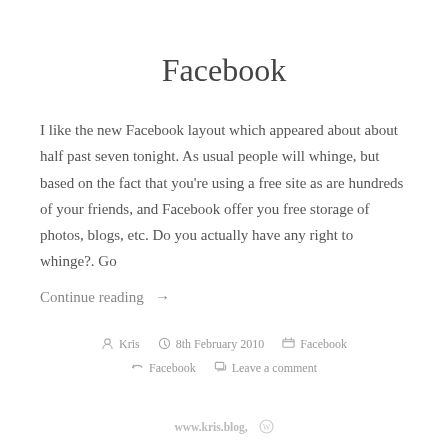Facebook
I like the new Facebook layout which appeared about about half past seven tonight. As usual people will whinge, but based on the fact that you're using a free site as are hundreds of your friends, and Facebook offer you free storage of photos, blogs, etc. Do you actually have any right to whinge?. Go
Continue reading →
Kris  8th February 2010  Facebook  Facebook  Leave a comment
www.kris.blog, ℗